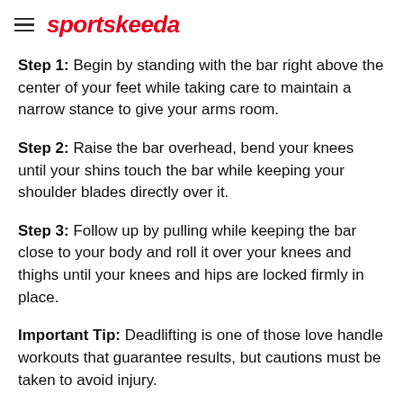sportskeeda
Step 1: Begin by standing with the bar right above the center of your feet while taking care to maintain a narrow stance to give your arms room.
Step 2: Raise the bar overhead, bend your knees until your shins touch the bar while keeping your shoulder blades directly over it.
Step 3: Follow up by pulling while keeping the bar close to your body and roll it over your knees and thighs until your knees and hips are locked firmly in place.
Important Tip: Deadlifting is one of those love handle workouts that guarantee results, but cautions must be taken to avoid injury.
Next up: Box Jumps